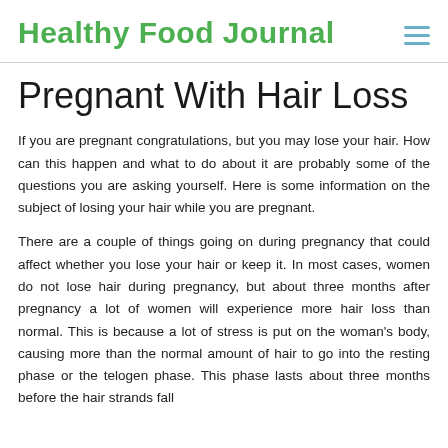Healthy Food Journal
Pregnant With Hair Loss
If you are pregnant congratulations, but you may lose your hair. How can this happen and what to do about it are probably some of the questions you are asking yourself. Here is some information on the subject of losing your hair while you are pregnant.
There are a couple of things going on during pregnancy that could affect whether you lose your hair or keep it. In most cases, women do not lose hair during pregnancy, but about three months after pregnancy a lot of women will experience more hair loss than normal. This is because a lot of stress is put on the woman's body, causing more than the normal amount of hair to go into the resting phase or the telogen phase. This phase lasts about three months before the hair strands fall